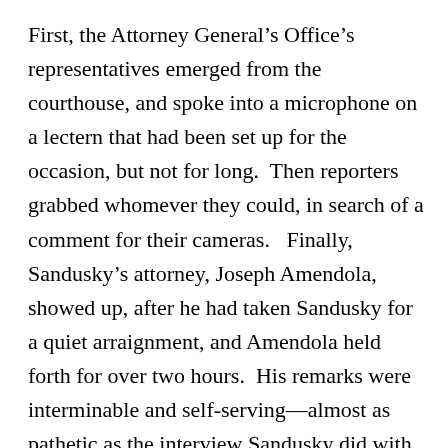First, the Attorney General's Office's representatives emerged from the courthouse, and spoke into a microphone on a lectern that had been set up for the occasion, but not for long.  Then reporters grabbed whomever they could, in search of a comment for their cameras.   Finally, Sandusky's attorney, Joseph Amendola, showed up, after he had taken Sandusky for a quiet arraignment, and Amendola held forth for over two hours.  His remarks were interminable and self-serving—almost as pathetic as the interview Sandusky did with NBC Sports reporter Bob Costas.  After the first hour of Amendola's rambling, it would have been refreshing to see the media trucks start up and drive away while he was still mid-sentence.  Then, someone could have turned off all the lights on